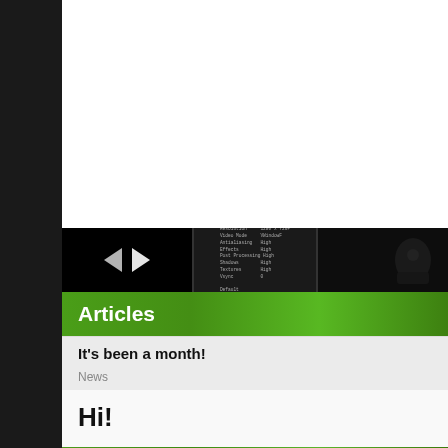[Figure (screenshot): Large white/blank area at the top of the page, likely a video or image embed area]
[Figure (screenshot): Three thumbnail images in a horizontal strip: first shows a black video player with back and play triangle buttons; second shows a dark in-game settings menu with text options like Resolution, Video Mode, Antialiasing, Effects, Post Processing, Shadows, Textures, Vsync; third shows a dark scene with a creature or figure.]
Articles
It's been a month!
News
Hi!
Okay so it's been a month sine I released Slender: The Haunted Metro and I'm people played the game, uploaded videos on YouTube and enjoyed a fresh vo